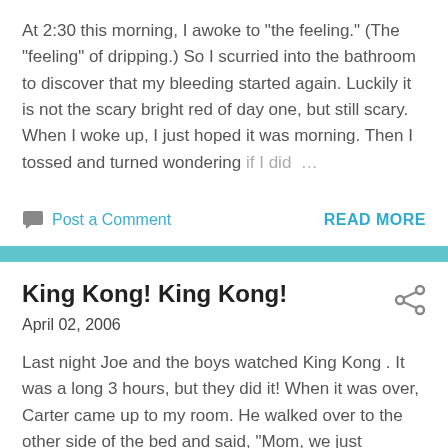At 2:30 this morning, I awoke to "the feeling." (The "feeling" of dripping.) So I scurried into the bathroom to discover that my bleeding started again. Luckily it is not the scary bright red of day one, but still scary. When I woke up, I just hoped it was morning. Then I tossed and turned wondering if I did …
Post a Comment
READ MORE
King Kong! King Kong!
April 02, 2006
Last night Joe and the boys watched King Kong . It was a long 3 hours, but they did it! When it was over, Carter came up to my room. He walked over to the other side of the bed and said, "Mom, we just watched King Kong . He died ..." then he started to sob and added, "I didn't like that." Then …